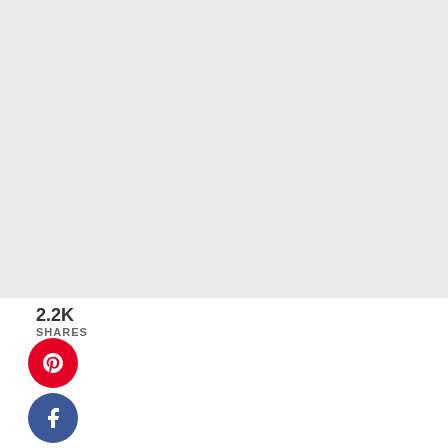[Figure (screenshot): Gray placeholder image area at the top of the page]
2.2K
SHARES
[Figure (infographic): Social media share sidebar buttons: Pinterest (red circle with P icon), Facebook (dark blue circle with f icon), Twitter (light blue circle with bird icon), Email (green circle with envelope icon)]
admit that I have resorted to using Citristrip nt remover in the past when I let a stencil wo get out of hand. I wouldn't recommend that. It may be considered stencil abuse. If you take care of your stencil after each use or project you should be able to use them over
[Figure (infographic): Right-side floating share widget with heart icon, 2.2K count, and share icon]